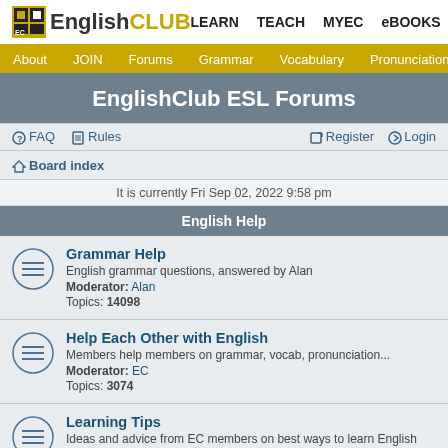English CLUB | LEARN  TEACH  MYEC  eBOOKS
About  JOIN  Forums  Grammar  Vocabulary  Pronunciation  Listening
EnglishClub ESL Forums
FAQ  Rules  Register  Login
Board index
It is currently Fri Sep 02, 2022 9:58 pm
English Help
Grammar Help
English grammar questions, answered by Alan
Moderator: Alan
Topics: 14098
Help Each Other with English
Members help members on grammar, vocab, pronunciation...
Moderator: EC
Topics: 3074
Learning Tips
Ideas and advice from EC members on best ways to learn English
Moderator: EC
Topics: 39